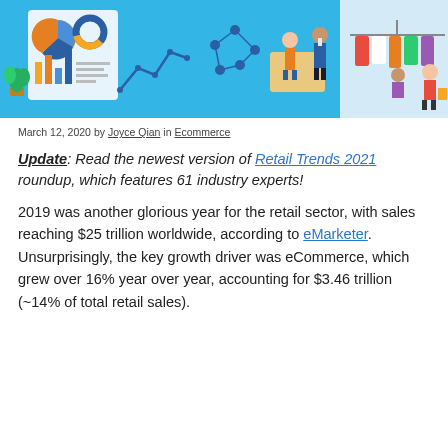[Figure (illustration): Colorful illustration of retail and ecommerce concepts: pie charts, bar charts, people shopping, clothing racks, on a light blue background.]
March 12, 2020 by Joyce Qian in Ecommerce
Update: Read the newest version of Retail Trends 2021 roundup, which features 61 industry experts!
2019 was another glorious year for the retail sector, with sales reaching $25 trillion worldwide, according to eMarketer. Unsurprisingly, the key growth driver was eCommerce, which grew over 16% year over year, accounting for $3.46 trillion (~14% of total retail sales).